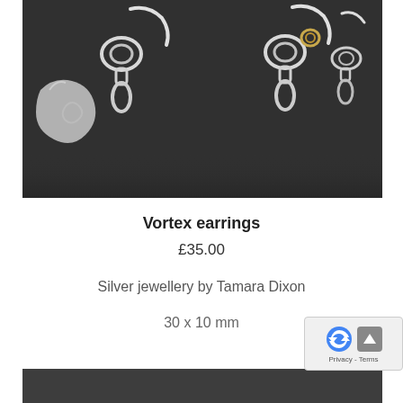[Figure (photo): Close-up photo of silver vortex earrings on dark/black background. Two pairs of silver earrings with looped/knot designs are visible against a charcoal dark textile background.]
Vortex earrings
£35.00
Silver jewellery by Tamara Dixon
30 x 10 mm
[Figure (photo): Bottom partial photo showing a dark/charcoal background, partial view of another product image.]